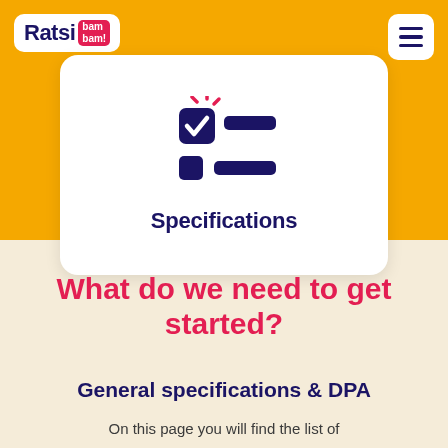[Figure (logo): Ratsi bambam! logo — white rounded rectangle with dark blue 'Ratsi' text and red 'bam bam!' badge]
[Figure (illustration): Hamburger menu icon in white rounded square]
[Figure (illustration): White card with checklist icon (pink/red checkmark with navy checkbox and two navy horizontal bars) and bold navy 'Specifications' label]
What do we need to get started?
General specifications & DPA
On this page you will find the list of